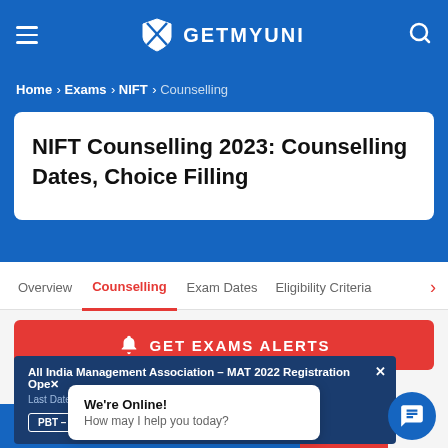GETMYUNI
Home > Exams > NIFT > Counselling
NIFT Counselling 2023: Counselling Dates, Choice Filling
Overview | Counselling | Exam Dates | Eligibility Criteria
GET EXAMS ALERTS
All India Management Association – MAT 2022 Registration Open
Last Date for Online Registration
PBT – 29 AUG   CBT – 12 SEP
We're Online!
How may I help you today?
CHECK ELIGIBILITY